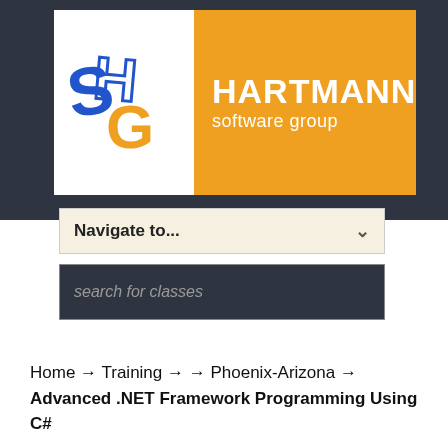[Figure (logo): Hartmann Software Group logo with stylized SGH letters in blue, orange, and yellow on white background, next to orange rectangle with 'HARTMANN software group' in white text]
Navigate to...
search for classes
Home → Training → → Phoenix-Arizona → Advanced .NET Framework Programming Using C#